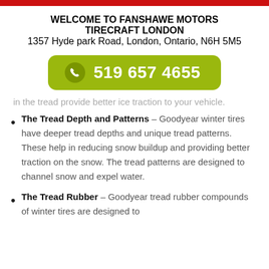WELCOME TO FANSHAWE MOTORS TIRECRAFT LONDON
1357 Hyde park Road, London, Ontario, N6H 5M5
[Figure (infographic): Green rounded button showing phone icon and number 519 657 4655]
in the tread provide better ice traction to your vehicle.
The Tread Depth and Patterns – Goodyear winter tires have deeper tread depths and unique tread patterns. These help in reducing snow buildup and providing better traction on the snow. The tread patterns are designed to channel snow and expel water.
The Tread Rubber – Goodyear tread rubber compounds of winter tires are designed to